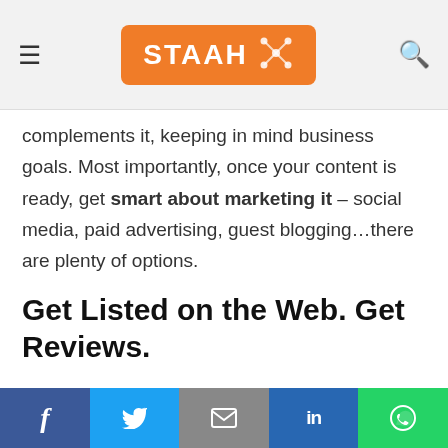STAAH — navigation header with hamburger menu, STAAH logo, and search icon
complements it, keeping in mind business goals. Most importantly, once your content is ready, get smart about marketing it – social media, paid advertising, guest blogging…there are plenty of options.
Get Listed on the Web. Get Reviews.
Get the word about your business out through various sites. TripAdvisor, Hotels.com, BreadandBreakfast.com…your options are endless really. Because these
Social share bar: Facebook, Twitter, Email, LinkedIn, WhatsApp